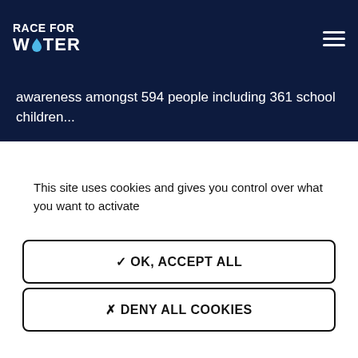RACE FOR WATER
awareness amongst 594 people including 361 school children...
This site uses cookies and gives you control over what you want to activate
✓ OK, ACCEPT ALL
✗ DENY ALL COOKIES
PERSONALIZE
PRIVACY POLICY